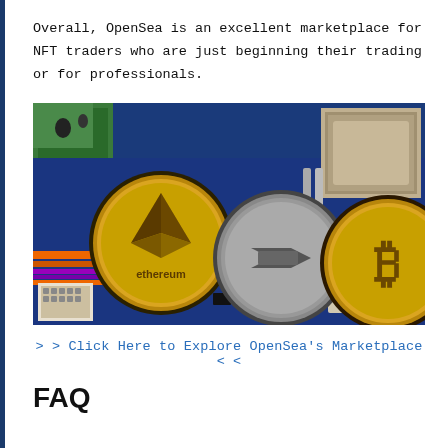Overall, OpenSea is an excellent marketplace for NFT traders who are just beginning their trading or for professionals.
[Figure (photo): Three cryptocurrency coins (Ethereum, Dash, Bitcoin) placed on a computer motherboard with colorful circuit traces visible.]
> > Click Here to Explore OpenSea's Marketplace < <
FAQ